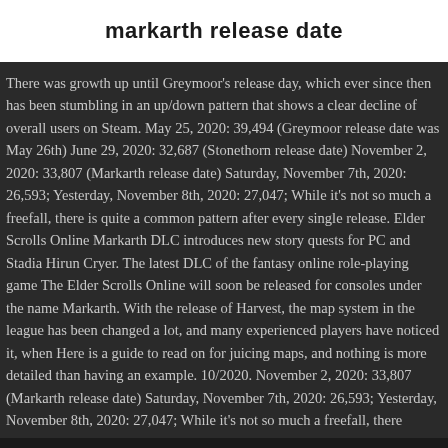markarth release date
There was growth up until Greymoor's release day, which ever since then has been stumbling in an up/down pattern that shows a clear decline of overall users on Steam. May 25, 2020: 39,494 (Greymoor release date was May 26th) June 29, 2020: 32,687 (Stonethorn release date) November 2, 2020: 33,807 (Markarth release date) Saturday, November 7th, 2020: 26,593; Yesterday, November 8th, 2020: 27,047; While it's not so much a freefall, there is quite a common pattern after every single release. Elder Scrolls Online Markarth DLC introduces new story quests for PC and Stadia Hirun Cryer. The latest DLC of the fantasy online role-playing game The Elder Scrolls Online will soon be released for consoles under the name Markarth. With the release of Harvest, the map system in the league has been changed a lot, and many experienced players have noticed it, when Here is a guide to read on for juicing maps, and nothing is more detailed than having an example. 10/2020. November 2, 2020: 33,807 (Markarth release date) Saturday, November 7th, 2020: 26,593; Yesterday, November 8th, 2020: 27,047; While it's not so much a freefall, there